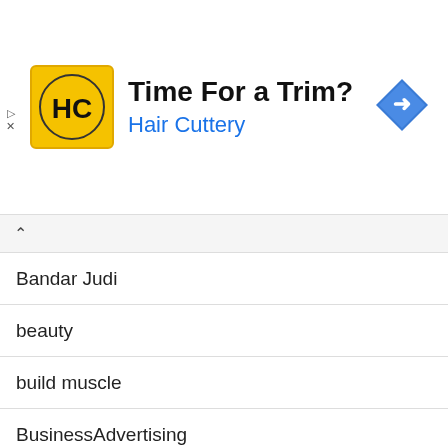[Figure (infographic): Hair Cuttery advertisement banner with logo, 'Time For a Trim?' headline, 'Hair Cuttery' subheading in blue, and a blue diamond navigation arrow icon on the right.]
Bandar Judi
beauty
build muscle
BusinessAdvertising
BusinessCareers
BusinessCustomer Service
BusinessSales
BusinessSmall Business
careers & job searching
cats